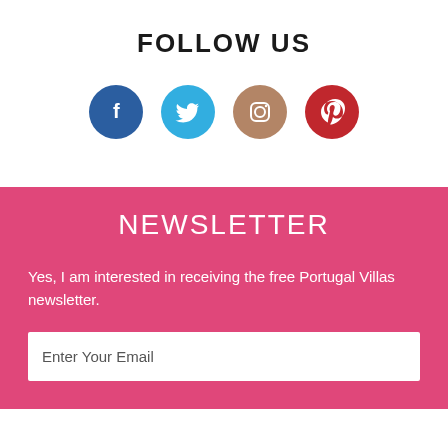FOLLOW US
[Figure (infographic): Four social media icons in circles: Facebook (dark blue), Twitter (light blue), Instagram (tan/brown), Pinterest (red)]
NEWSLETTER
Yes, I am interested in receiving the free Portugal Villas newsletter.
Enter Your Email